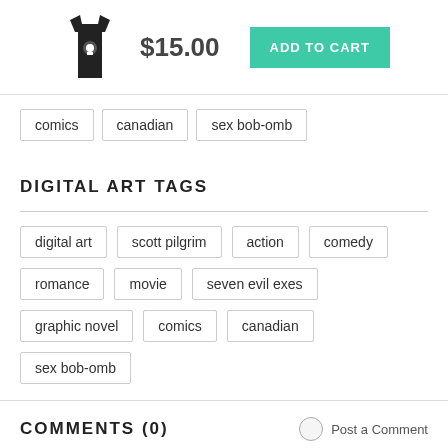[Figure (photo): Black tank top shirt with small graphic on front]
$15.00
ADD TO CART
comics
canadian
sex bob-omb
DIGITAL ART TAGS
digital art
scott pilgrim
action
comedy
romance
movie
seven evil exes
graphic novel
comics
canadian
sex bob-omb
COMMENTS  (0)
Post a Comment